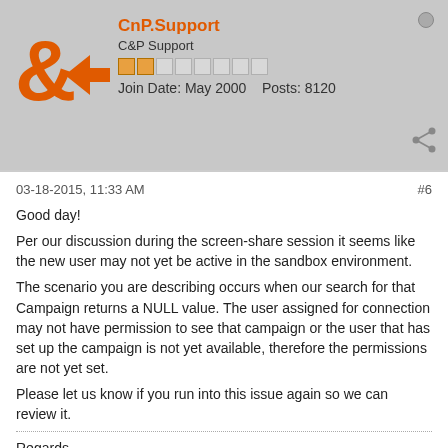[Figure (logo): CnP.Support logo with orange ampersand and arrow icon]
CnP.Support
C&P Support
Join Date: May 2000   Posts: 8120
03-18-2015, 11:33 AM
#6

Good day!

Per our discussion during the screen-share session it seems like the new user may not yet be active in the sandbox environment.

The scenario you are describing occurs when our search for that Campaign returns a NULL value. The user assigned for connection may not have permission to see that campaign or the user that has set up the campaign is not yet available, therefore the permissions are not yet set.

Please let us know if you run into this issue again so we can review it.

Regards,
Click & Pledge Support Department

On Salesforce? Help us by rating our app: Click & Pledge Donor Management on AppExchange

Join us @ the educational webinars: https://clickandpledge.com/webinars/
Live Support available Join between 3:00 - 3:30 p.m. ET Monday - Thursday:
https://clickandpledge.com/webinars/
Are you on Salesforce? Join us at the Power of Us Hub: